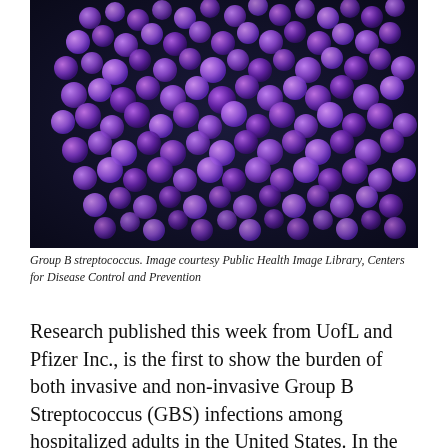[Figure (photo): Microscopic image of Group B streptococcus bacteria rendered as purple/violet spherical cells on a dark background. Image courtesy Public Health Image Library, Centers for Disease Control and Prevention.]
Group B streptococcus. Image courtesy Public Health Image Library, Centers for Disease Control and Prevention
Research published this week from UofL and Pfizer Inc., is the first to show the burden of both invasive and non-invasive Group B Streptococcus (GBS) infections among hospitalized adults in the United States. In the study, published in The Journal of Infectious Diseases, the authors estimated that